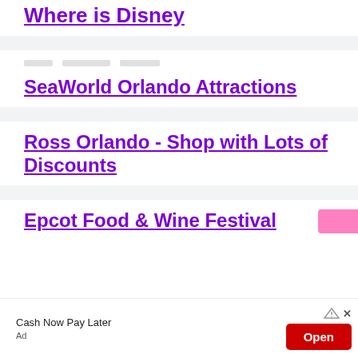Where is Disney
SeaWorld Orlando Attractions
Ross Orlando - Shop with Lots of Discounts
Epcot Food & Wine Festival
Cash Now Pay Later
Ad
[Figure (other): Advertisement banner with Open button and X close button]